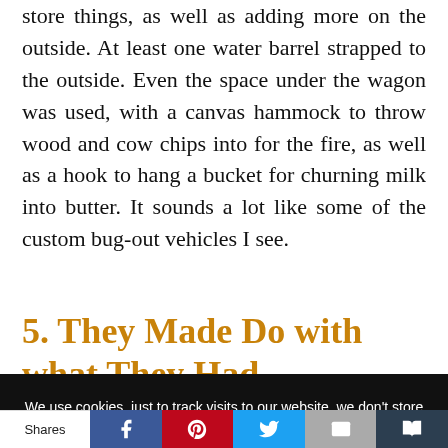store things, as well as adding more on the outside. At least one water barrel strapped to the outside. Even the space under the wagon was used, with a canvas hammock to throw wood and cow chips into for the fire, as well as a hook to hang a bucket for churning milk into butter. It sounds a lot like some of the custom bug-out vehicles I see.
5. They Made Do with what They Had
We use cookies, just to track visits to our website, we don't store personal details.
Shares